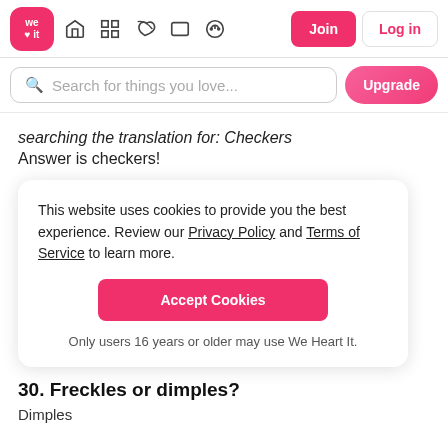we ♥ it | Search for things you love... | Join | Log in | Upgrade
searching the translation for: Checkers
Answer is checkers!
This website uses cookies to provide you the best experience. Review our Privacy Policy and Terms of Service to learn more.

Accept Cookies

Only users 16 years or older may use We Heart It.
30. Freckles or dimples?
Dimples